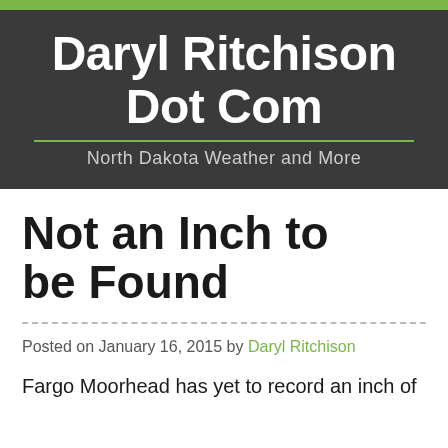Daryl Ritchison Dot Com — North Dakota Weather and More
Not an Inch to be Found
Posted on January 16, 2015 by Daryl Ritchison
Fargo Moorhead has yet to record an inch of